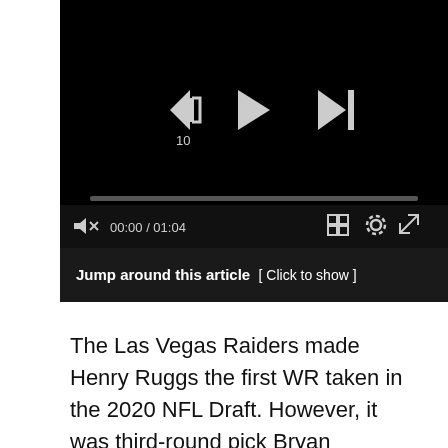[Figure (screenshot): Video player with black background showing media controls: rewind 10s button, play button, skip-to-end button, a progress bar, mute/volume icon, timestamp 00:00 / 01:04, grid icon, settings gear icon, and fullscreen icon.]
Jump around this article  [ Click to show ]
The Las Vegas Raiders made Henry Ruggs the first WR taken in the 2020 NFL Draft. However, it was third-round pick Bryan Edwards that several people felt was the better fantasy value. Still, neither rookie transitioned to